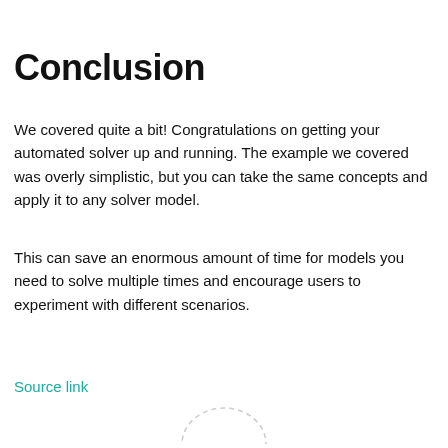Conclusion
We covered quite a bit! Congratulations on getting your automated solver up and running. The example we covered was overly simplistic, but you can take the same concepts and apply it to any solver model.
This can save an enormous amount of time for models you need to solve multiple times and encourage users to experiment with different scenarios.
Source link